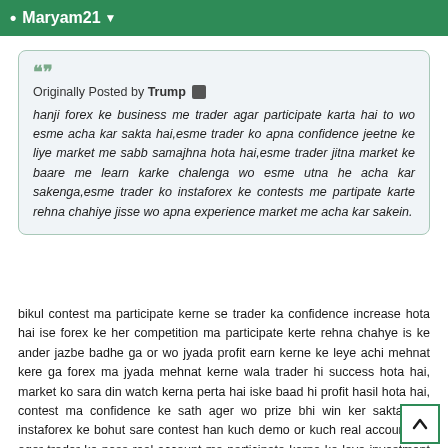• Maryam21 ▾
Originally Posted by Trump
hanji forex ke business me trader agar participate karta hai to wo esme acha kar sakta hai,esme trader ko apna confidence jeetne ke liye market me sabb samajhna hota hai,esme trader jitna market ke baare me learn karke chalenga wo esme utna he acha kar sakenga,esme trader ko instaforex ke contests me partipate karte rehna chahiye jisse wo apna experience market me acha kar sakein.
bikul contest ma participate kerne se trader ka confidence increase hota hai ise forex ke her competition ma participate kerte rehna chahye is ke ander jazbe badhe ga or wo jyada profit earn kerne ke leye achi mehnat kere ga forex ma jyada mehnat kerne wala trader hi success hota hai, market ko sara din watch kerna perta hai iske baad hi profit hasil hota hai, contest ma confidence ke sath ager wo prize bhi win ker sakta hai, instaforex ke bohut sare contest han kuch demo or kuch real account ke, ager trader ke pass real account ma participate kerne ke leye investment nahi hai tu wo demo contest ma participate ker sakta hai without any registration fees ke, ye opportunity sirf instaforex apne traders ke leye provide kerta hai instaforex ka her trader is ma participate ker sakta hai.